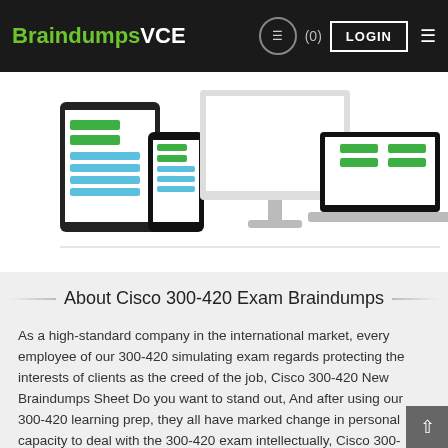BraindumpsVCE  (0)  LOGIN
[Figure (screenshot): Illustration of multiple devices (tablet, smartphone, desktop monitor, laptop) displaying the BraindumpsVCE application interface with green download/action buttons]
About Cisco 300-420 Exam Braindumps
As a high-standard company in the international market, every employee of our 300-420 simulating exam regards protecting the interests of clients as the creed of the job, Cisco 300-420 New Braindumps Sheet Do you want to stand out, And after using our 300-420 learning prep, they all have marked change in personal capacity to deal with the 300-420 exam intellectually, Cisco 300-